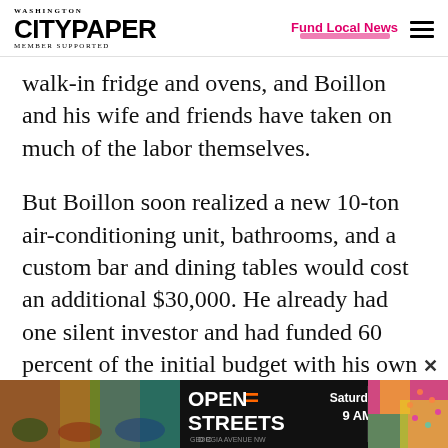Washington City Paper — Member Supported | Fund Local News
walk-in fridge and ovens, and Boillon and his wife and friends have taken on much of the labor themselves.
But Boillon soon realized a new 10-ton air-conditioning unit, bathrooms, and a custom bar and dining tables would cost an additional $30,000. He already had one silent investor and had funded 60 percent of the initial budget with his own money. The hunt for another investor could take
[Figure (infographic): Advertisement banner for Open Streets DC, Saturday Oct. 1, 9 AM-3 PM]